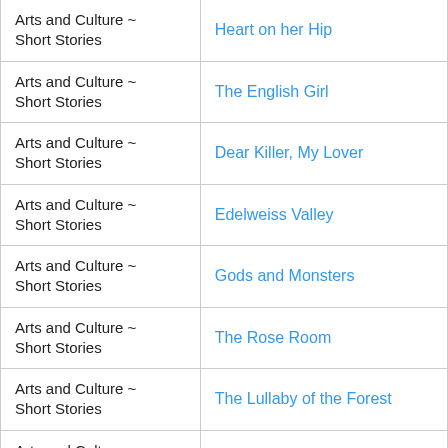| Category | Title |
| --- | --- |
| Arts and Culture ~ Short Stories | Heart on her Hip |
| Arts and Culture ~ Short Stories | The English Girl |
| Arts and Culture ~ Short Stories | Dear Killer, My Lover |
| Arts and Culture ~ Short Stories | Edelweiss Valley |
| Arts and Culture ~ Short Stories | Gods and Monsters |
| Arts and Culture ~ Short Stories | The Rose Room |
| Arts and Culture ~ Short Stories | The Lullaby of the Forest |
| Arts and Culture ~ Short Stories | Silence Lifts |